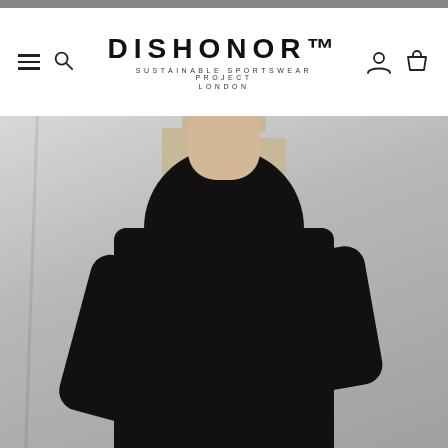DISHONOR™
SUSTAINABLE SPORTSWEAR PROJECT
LONDON
[Figure (photo): A young blonde woman wearing an oversized black hoodie with small logo text on the chest, standing against a light grey/white background, looking directly at camera with hand on hip.]